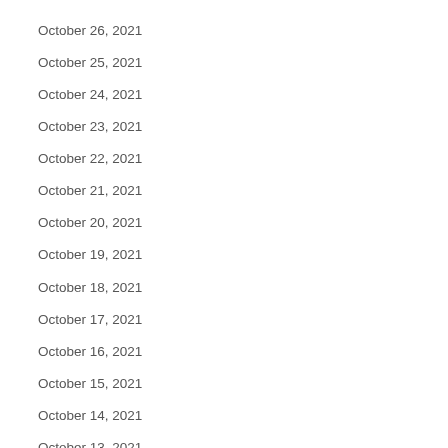October 26, 2021
October 25, 2021
October 24, 2021
October 23, 2021
October 22, 2021
October 21, 2021
October 20, 2021
October 19, 2021
October 18, 2021
October 17, 2021
October 16, 2021
October 15, 2021
October 14, 2021
October 13, 2021
October 12, 2021
October 11, 2021
October 10, 2021
October 9, 2021
October 8, 2021
October 7, 2021
October 6, 2021
October 5, 2021
October 4, 2021